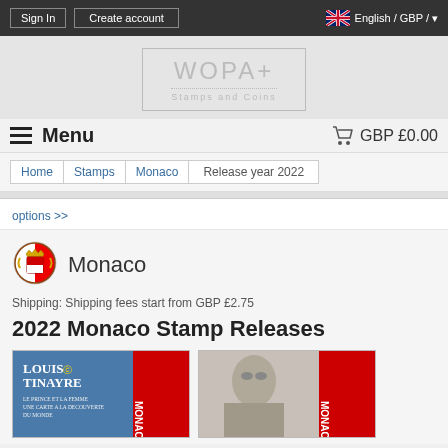Sign In | Create account | English / GBP /
[Figure (logo): WOPA+ Stamps and Coins logo in a bordered box]
≡ Menu   🛒 GBP £0.00
Home > Stamps > Monaco > Release year 2022
options >>
[Figure (illustration): Monaco coat of arms / flag emblem]
Monaco
Shipping: Shipping fees start from GBP £2.75
2022 Monaco Stamp Releases
[Figure (photo): Monaco stamp thumbnail showing Louis Tinayre with text: LOUIS TINAYRE, LE PRINCE ET LA FEMME UNE CARTE A LA DECOUVERTE DU MONDE, MONACO]
[Figure (photo): Monaco stamp thumbnail showing portrait of a man, partially visible, with MONACO text]